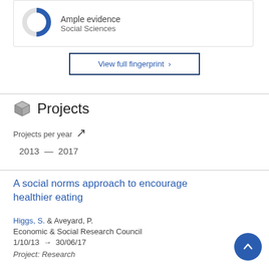[Figure (donut-chart): Small donut chart with blue filled segment indicating 'Ample evidence' in Social Sciences]
Ample evidence
Social Sciences
View full fingerprint ›
Projects
Projects per year ↗
2013 — 2017
A social norms approach to encourage healthier eating
Higgs, S. & Aveyard, P.
Economic & Social Research Council
1/10/13 → 30/06/17
Project: Research